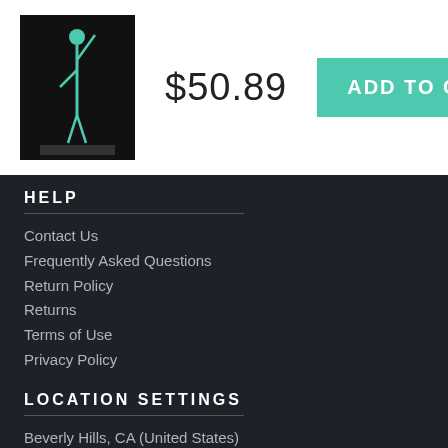[Figure (photo): Product thumbnail image of a figure/poster on dark background]
$50.89
ADD TO CART
HELP
Contact Us
Frequently Asked Questions
Return Policy
Returns
Terms of Use
Privacy Policy
LOCATION SETTINGS
Beverly Hills, CA (United States)
Currency: USD ($)
Units: Inches
STAY CONNECTED
Sign up for our newsletter for exclusive deals, discount codes, and more.